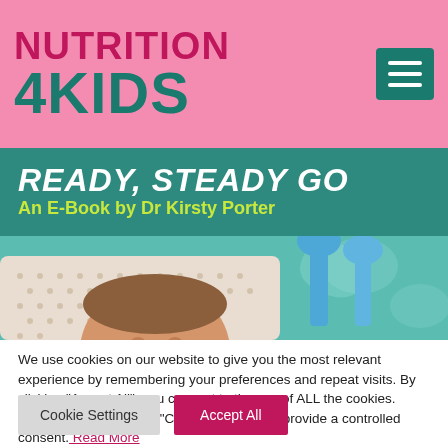[Figure (logo): Nutrition 4 Kids logo with pink background, teal hamburger menu icon]
[Figure (photo): Banner showing 'READY, STEADY GO An E-Book by Dr Kirsty Porter' on teal background with baby photo below]
We use cookies on our website to give you the most relevant experience by remembering your preferences and repeat visits. By clicking "Accept All", you consent to the use of ALL the cookies. However, you may visit "Cookie Settings" to provide a controlled consent. Read More
Cookie Settings
Accept All